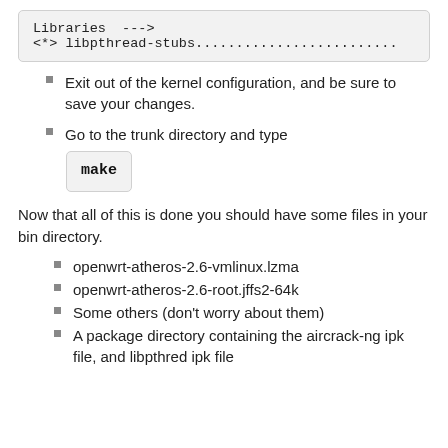Libraries  --->
<*> libpthread-stubs......................
Exit out of the kernel configuration, and be sure to save your changes.
Go to the trunk directory and type
make
Now that all of this is done you should have some files in your bin directory.
openwrt-atheros-2.6-vmlinux.lzma
openwrt-atheros-2.6-root.jffs2-64k
Some others (don't worry about them)
A package directory containing the aircrack-ng ipk file, and libpthred ipk file